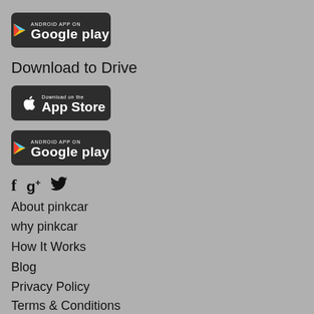[Figure (screenshot): Google Play badge - Android App on Google Play]
Download to Drive
[Figure (screenshot): Download on the App Store badge]
[Figure (screenshot): Android App on Google Play badge]
[Figure (screenshot): Social media icons: Facebook, Google+, Twitter]
About pinkcar
why pinkcar
How It Works
Blog
Privacy Policy
Terms & Conditions